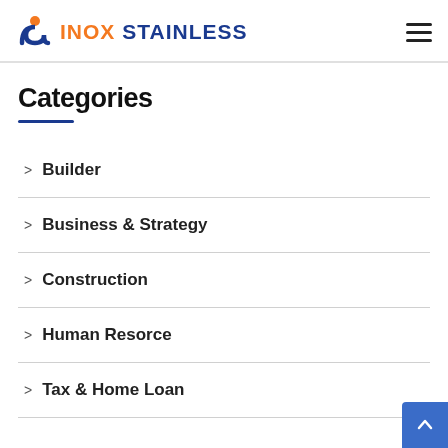[Figure (logo): Inox Stainless logo with orange stylized S icon and text INOX STAINLESS in orange and dark blue]
Categories
Builder
Business & Strategy
Construction
Human Resorce
Tax & Home Loan